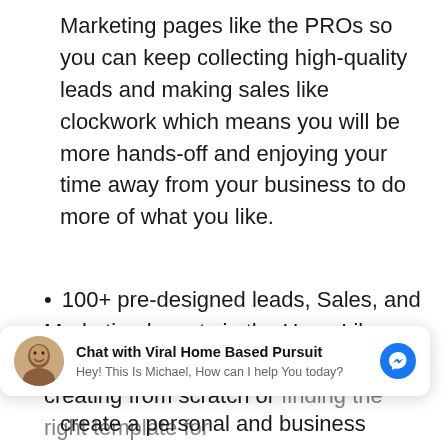Marketing pages like the PROs so you can keep collecting high-quality leads and making sales like clockwork which means you will be more hands-off and enjoying your time away from your business to do more of what you like.
100+ pre-designed leads, Sales, and Marketing layouts in the Huge Library so you don't have to worry about creating from scratch or finding the right templates for
[Figure (screenshot): Chat widget overlay with avatar photo of Michael, bold text 'Chat with Viral Home Based Pursuit', subtitle 'Hey! This Is Michael, How can I help You today?', and a blue Messenger icon button]
create a personal and business